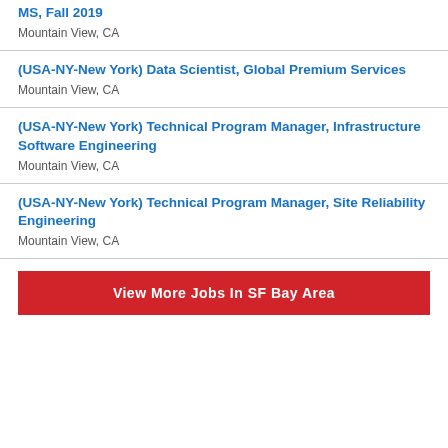MS, Fall 2019
Mountain View, CA
(USA-NY-New York) Data Scientist, Global Premium Services
Mountain View, CA
(USA-NY-New York) Technical Program Manager, Infrastructure Software Engineering
Mountain View, CA
(USA-NY-New York) Technical Program Manager, Site Reliability Engineering
Mountain View, CA
View More Jobs In SF Bay Area